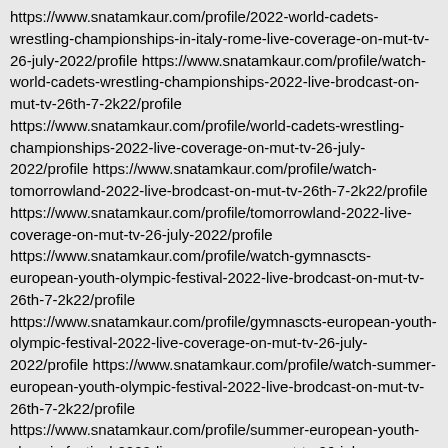https://www.snatamkaur.com/profile/2022-world-cadets-wrestling-championships-in-italy-rome-live-coverage-on-mut-tv-26-july-2022/profile https://www.snatamkaur.com/profile/watch-world-cadets-wrestling-championships-2022-live-brodcast-on-mut-tv-26th-7-2k22/profile https://www.snatamkaur.com/profile/world-cadets-wrestling-championships-2022-live-coverage-on-mut-tv-26-july-2022/profile https://www.snatamkaur.com/profile/watch-tomorrowland-2022-live-brodcast-on-mut-tv-26th-7-2k22/profile https://www.snatamkaur.com/profile/tomorrowland-2022-live-coverage-on-mut-tv-26-july-2022/profile https://www.snatamkaur.com/profile/watch-gymnastics-european-youth-olympic-festival-2022-live-brodcast-on-mut-tv-26th-7-2k22/profile https://www.snatamkaur.com/profile/gymnastics-european-youth-olympic-festival-2022-live-coverage-on-mut-tv-26-july-2022/profile https://www.snatamkaur.com/profile/watch-summer-european-youth-olympic-festival-2022-live-brodcast-on-mut-tv-26th-7-2k22/profile https://www.snatamkaur.com/profile/summer-european-youth-olympic-festival-2022-live-coverage-on-mut-tv-26-july-2022/profile https://www.snatamkaur.com/profile/watch-north-american-and-caribbean-senior-club-championship-2022-live-brodcast-on-mut-tv-26th-7-2k22/profile https://www.snatamkaur.com/profile/north-american-and-caribbean-senior-club-championship-2022-live-coverage-on-mut-